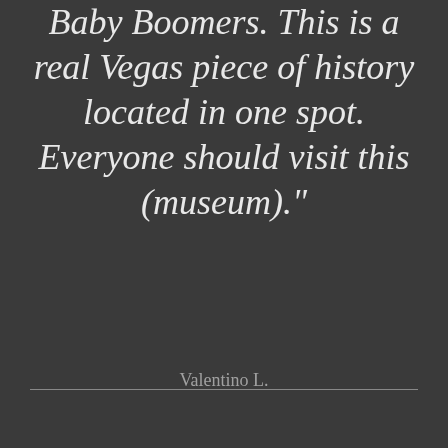Baby Boomers. This is a real Vegas piece of history located in one spot. Everyone should visit this (museum)."
Valentino L.